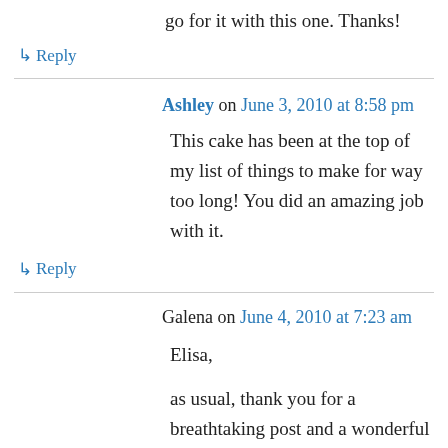go for it with this one. Thanks!
↳ Reply
Ashley on June 3, 2010 at 8:58 pm
This cake has been at the top of my list of things to make for way too long! You did an amazing job with it.
↳ Reply
Galena on June 4, 2010 at 7:23 am
Elisa,
as usual, thank you for a breathtaking post and a wonderful recipe. My husband and I are always